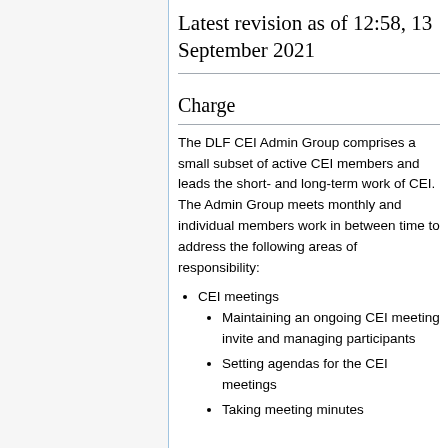Latest revision as of 12:58, 13 September 2021
Charge
The DLF CEI Admin Group comprises a small subset of active CEI members and leads the short- and long-term work of CEI. The Admin Group meets monthly and individual members work in between time to address the following areas of responsibility:
CEI meetings
Maintaining an ongoing CEI meeting invite and managing participants
Setting agendas for the CEI meetings
Taking meeting minutes